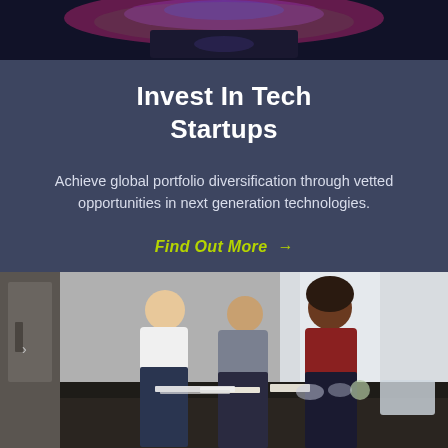[Figure (photo): Dark background with colorful LED/RGB light glow at top of page]
Invest In Tech Startups
Achieve global portfolio diversification through vetted opportunities in next generation technologies.
Find Out More →
[Figure (photo): Three young professionals leaning over a dark table reviewing documents in a modern office space]